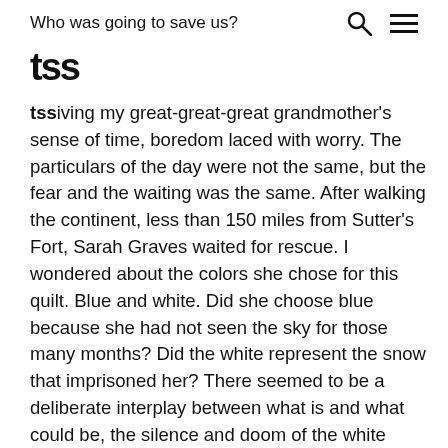Who was going to save us?
tss­iving my great-great-great grandmother’s sense of time, boredom laced with worry. The particulars of the day were not the same, but the fear and the waiting was the same. After walking the continent, less than 150 miles from Sutter’s Fort, Sarah Graves waited for rescue. I wondered about the colors she chose for this quilt. Blue and white. Did she choose blue because she had not seen the sky for those many months? Did the white represent the snow that imprisoned her? There seemed to be a deliberate interplay between what is and what could be, the silence and doom of the white against the jubilant blue sky.
It was summer. Terrible forest fires in California drawing near to our home. I kicked the squirrels out of the engine of my car and packed my most precious things in the backseat. My own covered wagon. Deaths from the